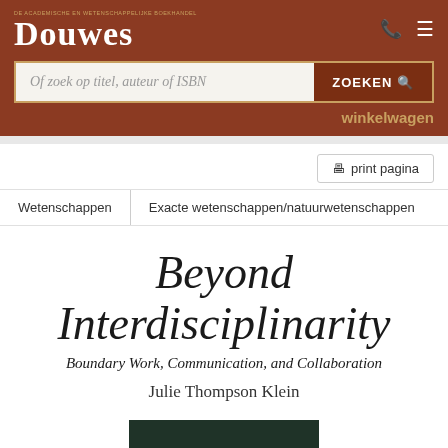Douwes — DE ACADEMISCHE EN WETENSCHAPPELIJKE BOEKHANDEL
Of zoek op titel, auteur of ISBN
ZOEKEN
winkelwagen
print pagina
Wetenschappen
Exacte wetenschappen/natuurwetenschappen
Beyond Interdisciplinarity
Boundary Work, Communication, and Collaboration
Julie Thompson Klein